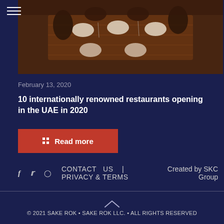[Figure (photo): Interior of a restaurant with dark wooden tables set with plates and glasses, dark chairs, warm ambient lighting]
February 13, 2020
10 internationally renowned restaurants opening in the UAE in 2020
Read more
f  Twitter  Instagram  CONTACT US | PRIVACY & TERMS  Created by SKC Group
© 2021 SAKE ROK • SAKE ROK LLC. • ALL RIGHTS RESERVED